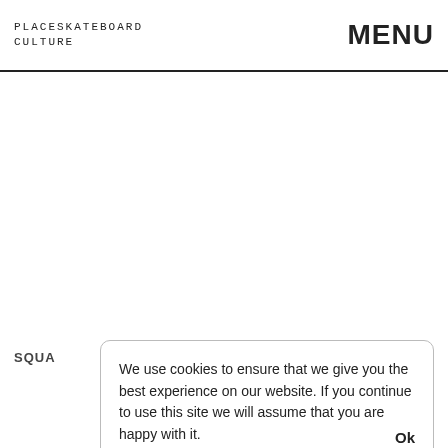PLACESKATEBOARD CULTURE    MENU
SQUA
We use cookies to ensure that we give you the best experience on our website. If you continue to use this site we will assume that you are happy with it.   Ok